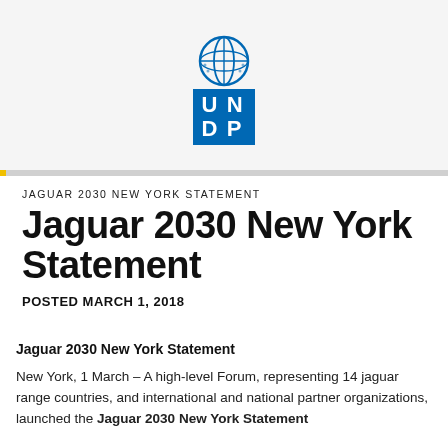[Figure (logo): UNDP logo with UN globe emblem above blue box with letters U N D P]
JAGUAR 2030 NEW YORK STATEMENT
Jaguar 2030 New York Statement
POSTED MARCH 1, 2018
Jaguar 2030 New York Statement
New York, 1 March – A high-level Forum, representing 14 jaguar range countries, and international and national partner organizations, launched the Jaguar 2030 New York Statement